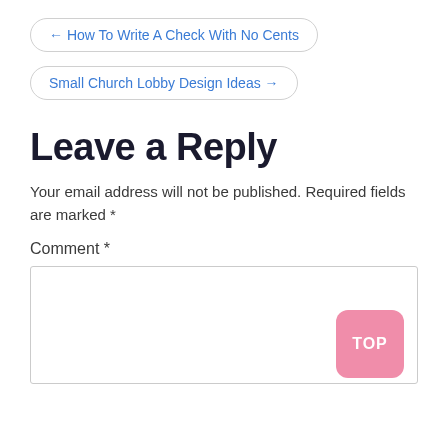← How To Write A Check With No Cents
Small Church Lobby Design Ideas →
Leave a Reply
Your email address will not be published. Required fields are marked *
Comment *